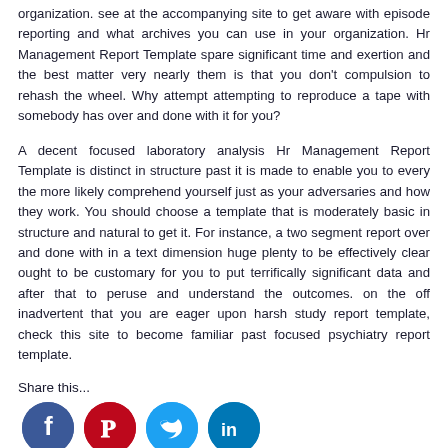organization. see at the accompanying site to get aware with episode reporting and what archives you can use in your organization. Hr Management Report Template spare significant time and exertion and the best matter very nearly them is that you don't compulsion to rehash the wheel. Why attempt attempting to reproduce a tape with somebody has over and done with it for you?
A decent focused laboratory analysis Hr Management Report Template is distinct in structure past it is made to enable you to every the more likely comprehend yourself just as your adversaries and how they work. You should choose a template that is moderately basic in structure and natural to get it. For instance, a two segment report over and done with in a text dimension huge plenty to be effectively clear ought to be customary for you to put terrifically significant data and after that to peruse and understand the outcomes. on the off inadvertent that you are eager upon harsh study report template, check this site to become familiar past focused psychiatry report template.
Share this...
[Figure (infographic): Social media sharing icons: Facebook (blue circle with f), Pinterest (red circle with P), Twitter (light blue circle with bird), LinkedIn (blue circle with in)]